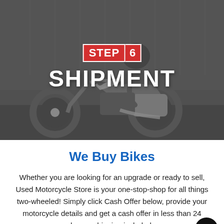[Figure (photo): A motorcyclist riding a large touring motorcycle (Harley-Davidson style bagger) in a warehouse/industrial setting. The image has a dark overlay. Overlaid text reads 'STEP 6' in a red badge and 'SHIPMENT' in large white bold letters.]
We Buy Bikes
Whether you are looking for an upgrade or ready to sell, Used Motorcycle Store is your one-stop-shop for all things two-wheeled! Simply click Cash Offer below, provide your motorcycle details and get a cash offer in less than 24 hours, shipping included.